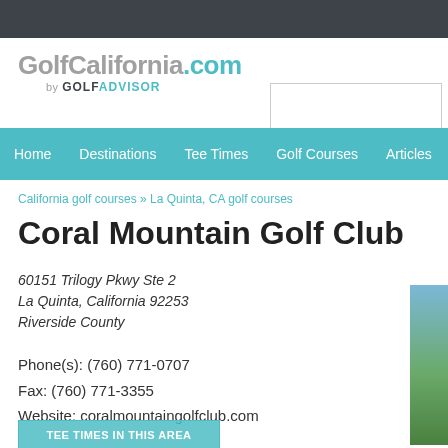[Figure (logo): GolfCalifornia.com by GOLF ADVISOR logo]
Home   Destinations   Tee Times   Golf Courses   Articles
California golf courses » La Quinta, CA golf courses
Coral Mountain Golf Club
60151 Trilogy Pkwy Ste 2
La Quinta, California 92253
Riverside County
Phone(s): (760) 771-0707
Fax: (760) 771-3355
Website: coralmountaingolfclub.com
TEE TIMES IN THIS AREA